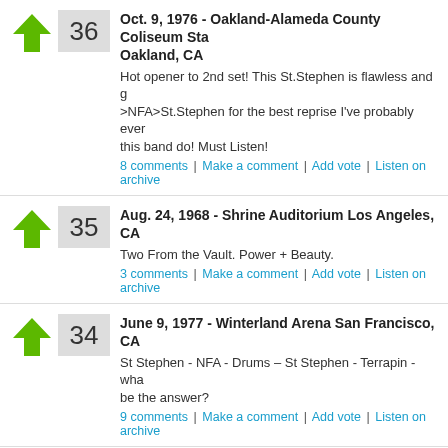Oct. 9, 1976 - Oakland-Alameda County Coliseum Stadium, Oakland, CA
Hot opener to 2nd set! This St.Stephen is flawless and g... >NFA>St.Stephen for the best reprise I've probably ever... this band do! Must Listen!
8 comments | Make a comment | Add vote | Listen on archive
Aug. 24, 1968 - Shrine Auditorium Los Angeles, CA
Two From the Vault. Power + Beauty.
3 comments | Make a comment | Add vote | Listen on archive
June 9, 1977 - Winterland Arena San Francisco, CA
St Stephen - NFA - Drums – St Stephen - Terrapin - wha... be the answer?
9 comments | Make a comment | Add vote | Listen on archive
Sept. 19, 1970 - Fillmore East New York, NY
Not a note missed, and not a second wasted. A superbly... polished Stephen, and i'm surprised it isn't here already. version from a Dope show
5 comments | Make a comment | Add vote | Listen on archive